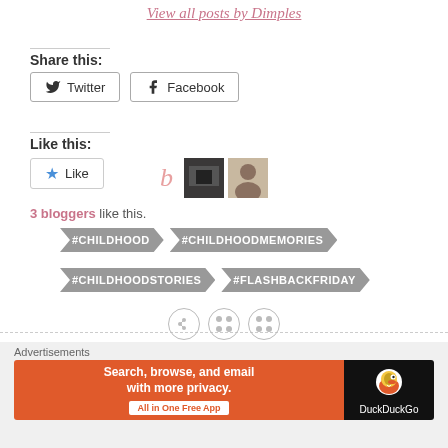View all posts by Dimples
Share this:
Twitter  Facebook
Like this:
Like  3 bloggers like this.
#CHILDHOOD
#CHILDHOODMEMORIES
#CHILDHOODSTORIES
#FLASHBACKFRIDAY
Advertisements
[Figure (screenshot): DuckDuckGo advertisement banner: Search, browse, and email with more privacy. All in One Free App.]